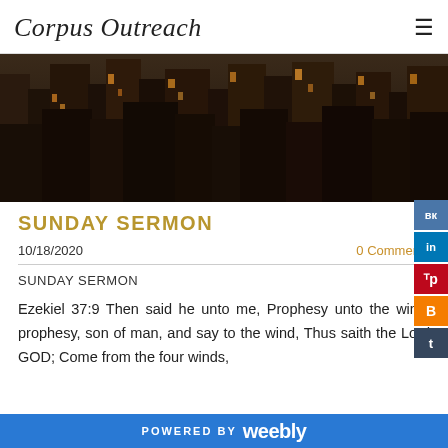Corpus Outreach
[Figure (photo): Aerial cityscape photograph with dark moody tones showing urban skyscrapers]
SUNDAY SERMON
10/18/2020   0 Comments
SUNDAY SERMON
Ezekiel 37:9 Then said he unto me, Prophesy unto the wind, prophesy, son of man, and say to the wind, Thus saith the Lord GOD; Come from the four winds,
POWERED BY weebly